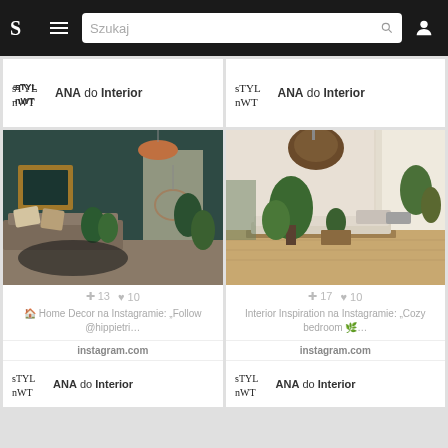S  ≡  Szukaj 🔍  [user icon]
ANA do Interior
ANA do Interior
[Figure (photo): Bohemian living room with dark teal walls, a hanging chair, plants, ornate gold mirror, gray sofa, and cowhide rug]
+ 13  ♥ 10
🏠 Home Decor na Instagramie: „Follow @hippietri…
instagram.com
ANA do Interior
[Figure (photo): Boho bedroom with plants, wicker pendant lamp, mattress on wooden pallets, and linen bedding in bright airy room]
+ 17  ♥ 10
Interior Inspiration na Instagramie: „Cozy bedroom 🌿…
instagram.com
ANA do Interior